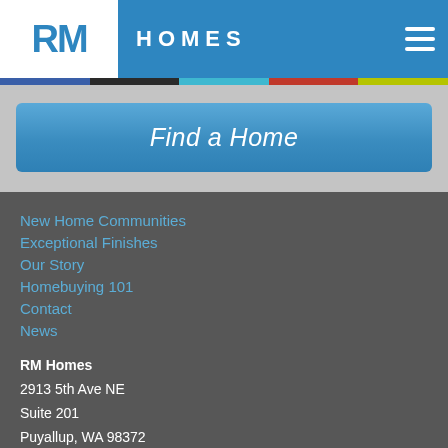[Figure (logo): RM Homes logo with white background panel showing 'RM' in blue and 'HOMES' in white text on blue header, with hamburger menu icon on right]
[Figure (other): Multicolor stripe with segments of blue, black, teal, red, and yellow-green]
Find a Home
New Home Communities
Exceptional Finishes
Our Story
Homebuying 101
Contact
News
RM Homes
2913 5th Ave NE
Suite 201
Puyallup, WA 98372
© 2014 RM Homes, LLC
All Rights Reserved
[Figure (other): Equal housing opportunity icon]